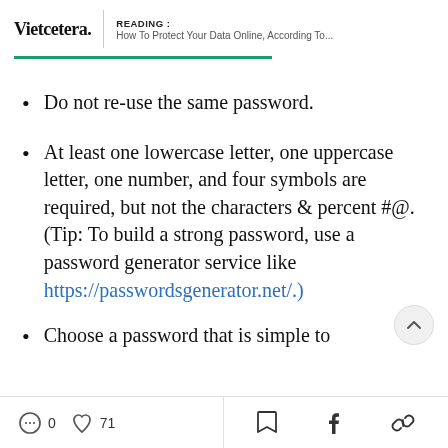Vietcetera. | READING : How To Protect Your Data Online, According To...
Do not re-use the same password.
At least one lowercase letter, one uppercase letter, one number, and four symbols are required, but not the characters & percent #@. (Tip: To build a strong password, use a password generator service like https://passwordsgenerator.net/.)
Choose a password that is simple to
0  71  [bookmark] [facebook] [link]